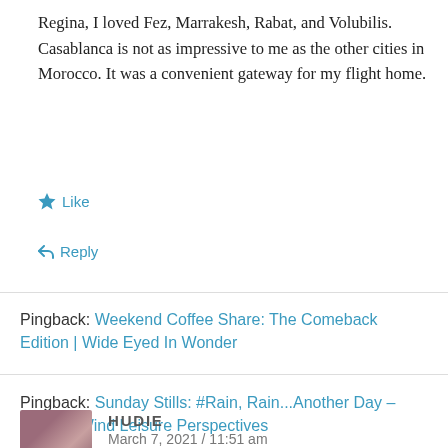Regina, I loved Fez, Marrakesh, Rabat, and Volubilis. Casablanca is not as impressive to me as the other cities in Morocco. It was a convenient gateway for my flight home.
★ Like
↩ Reply
Pingback: Weekend Coffee Share: The Comeback Edition | Wide Eyed In Wonder
Pingback: Sunday Stills: #Rain, Rain...Another Day – Second Wind Leisure Perspectives
HUDIE
March 7, 2021 / 11:51 am